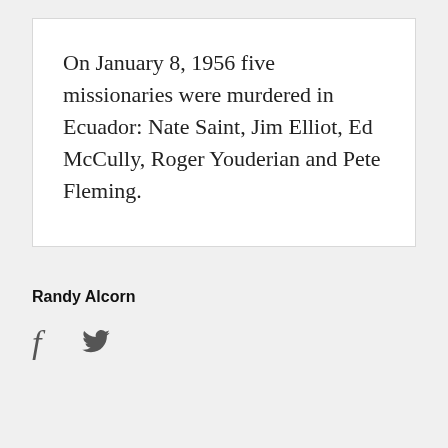On January 8, 1956 five missionaries were murdered in Ecuador: Nate Saint, Jim Elliot, Ed McCully, Roger Youderian and Pete Fleming.
Randy Alcorn
[Figure (other): Social media icons: Facebook (f) and Twitter (bird) icons in dark gray]